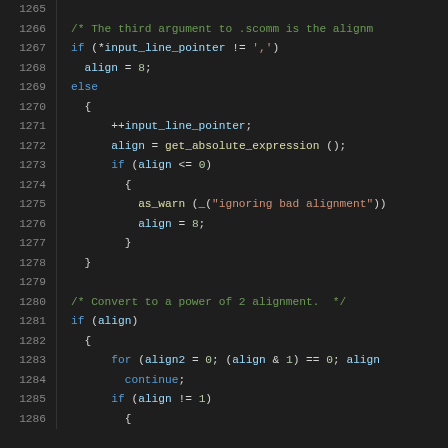[Figure (screenshot): Source code viewer showing C code lines 1265-1286, dark theme editor with line numbers on left. Code shows .scomm alignment handling logic with if/else blocks and a power-of-2 alignment conversion loop.]